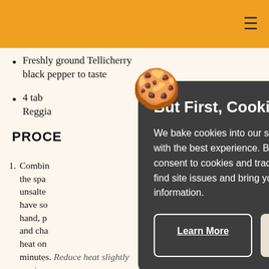≡
Freshly ground Tellicherry black pepper to taste
4 tablespoons [truncated] Reggiano [truncated]
PROCEDURE
1. Combine [truncated] the spaghetti [truncated] unsalted [truncated] have some [truncated] hand, place [truncated] and char [truncated] heat on [truncated] minutes. Reduce heat slightly again.
2. Melt two tablespoons of butter in a large [truncated]
[Figure (illustration): Cookie emoji graphic overlaid on the page content]
But First, Cookies! We bake cookies into our site to provide you with the best experience. By using our site, you consent to cookies and tracking. They help us find site issues and bring you the most relevant information.
Learn More | Accept & Continue